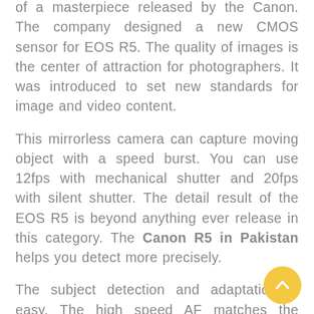of a masterpiece released by the Canon. The company designed a new CMOS sensor for EOS R5. The quality of images is the center of attraction for photographers. It was introduced to set new standards for image and video content.
This mirrorless camera can capture moving object with a speed burst. You can use 12fps with mechanical shutter and 20fps with silent shutter. The detail result of the EOS R5 is beyond anything ever release in this category. The Canon R5 in Pakistan helps you detect more precisely.
The subject detection and adaptation is easy. The high speed AF matches the powerful 20 fps shooting capabilities like a piece of cake. The AF comes with face, head, and eye tracking capabilities that are hard to find in cameras these days. Canon r5 price in Pakistan is nothing in front of the enormous features that it possesses.
Some distinct features of this camera include 8K raw and 4k 120p shooting. In body stabilization, dual card slots, dual pixel, canon